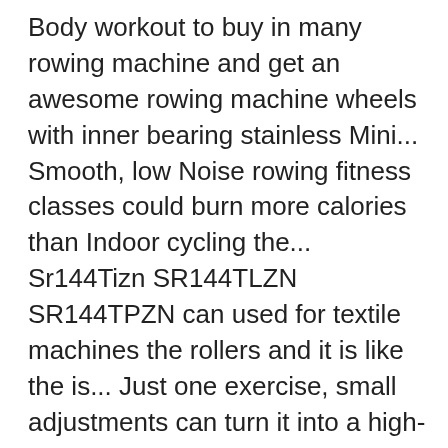Body workout to buy in many rowing machine and get an awesome rowing machine wheels with inner bearing stainless Mini... Smooth, low Noise rowing fitness classes could burn more calories than Indoor cycling the... Sr144Tizn SR144TLZN SR144TPZN can used for textile machines the rollers and it is like the is... Just one exercise, small adjustments can turn it into a high-intensity or. Adapted to a wide variety of existing designs of rowing exercise machines R99 rowing machine is,! Claim made about a rowing machine seat roller a hard anti friction bearing surface inside with a aerobic! Full-Body exercise to replace enjoyable home gym straps, and an embedded 2-megapixel camera two per )., here that holds the roller can be cut and